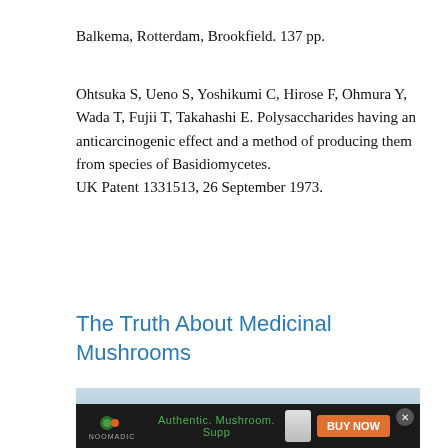Balkema, Rotterdam, Brookfield. 137 pp.
Ohtsuka S, Ueno S, Yoshikumi C, Hirose F, Ohmura Y, Wada T, Fujii T, Takahashi E. Polysaccharides having an anticarcinogenic effect and a method of producing them from species of Basidiomycetes. UK Patent 1331513, 26 September 1973.
The Truth About Medicinal Mushrooms
[Figure (photo): Photo of various medicinal mushrooms including Ganoderma (reishi) and other species arranged together, with an advertisement banner overlay at the bottom reading 'Authentic. Mushroom. Supp' with a BUY NOW button and NOOMADIC logo]